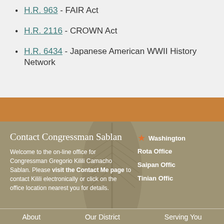H.R. 963 - FAIR Act
H.R. 2116 - CROWN Act
H.R. 6434 - Japanese American WWII History Network
Contact Congressman Sablan
Welcome to the on-line office for Congressman Gregorio Kilili Camacho Sablan. Please visit the Contact Me page to contact Kilili electronically or click on the office location nearest you for details.
Washington
Rota Office
Saipan Office
Tinian Office
About   Our District   Serving You